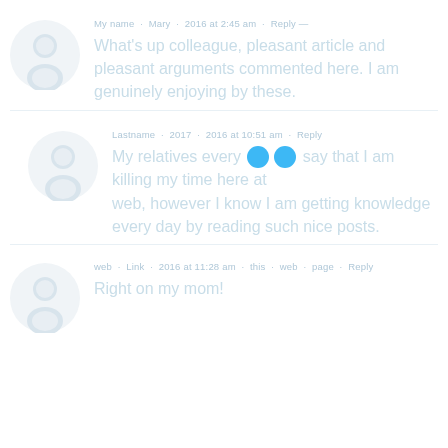My name · Mary · 2016 at 2:45 am · Reply
What's up colleague, pleasant article and pleasant arguments commented here. I am genuinely enjoying by these.
Lastname · 2017 · 2016 at 10:51 am · Reply
My relatives every say that I am killing my time here at [flickr] web, however I know I am getting knowledge every day by reading such nice posts.
web · Link · 2016 at 11:28 am · this · web · page · Reply
Right on my mom!